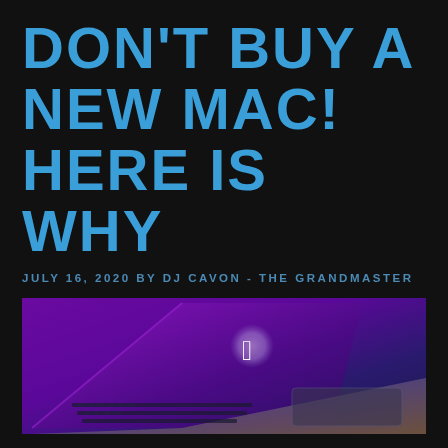DON'T BUY A NEW MAC! HERE IS WHY
JULY 16, 2020 BY DJ CAVON - THE GRANDMASTER
[Figure (photo): Closeup of a MacBook laptop lit with purple and blue neon lighting, showing the glowing Apple logo on the lid and the keyboard/trackpad area]